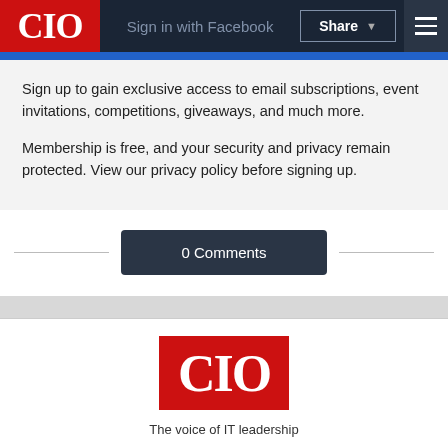CIO | Sign in with Facebook | Share
Sign up to gain exclusive access to email subscriptions, event invitations, competitions, giveaways, and much more.
Membership is free, and your security and privacy remain protected. View our privacy policy before signing up.
0 Comments
[Figure (logo): CIO logo — white letters on red background]
The voice of IT leadership